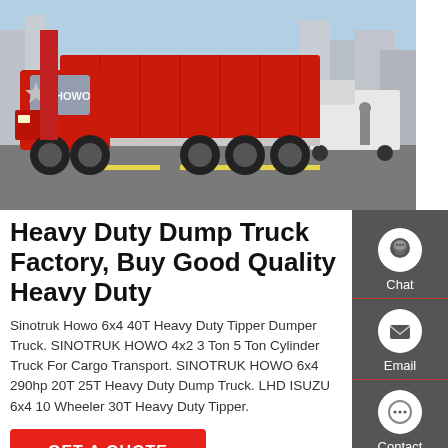[Figure (photo): A large red Sinotruk HOWO dump truck parked on a street, with city buildings in the background.]
Heavy Duty Dump Truck Factory, Buy Good Quality Heavy Duty
Sinotruk Howo 6x4 40T Heavy Duty Tipper Dumper Truck. SINOTRUK HOWO 4x2 3 Ton 5 Ton Cylinder Truck For Cargo Transport. SINOTRUK HOWO 6x4 290hp 20T 25T Heavy Duty Dump Truck. LHD ISUZU 6x4 10 Wheeler 30T Heavy Duty Tipper.
GET A QUOTE